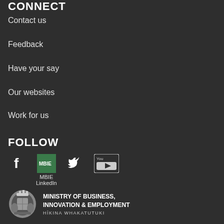CONNECT
Contact us
Feedback
Have your say
Our websites
Work for us
FOLLOW
[Figure (logo): Social media icons: Facebook, LinkedIn (MBIE LinkedIn), Twitter, YouTube]
[Figure (logo): Ministry of Business, Innovation & Employment crest and wordmark logo with tagline HIKINA WHAKATUTUKI]